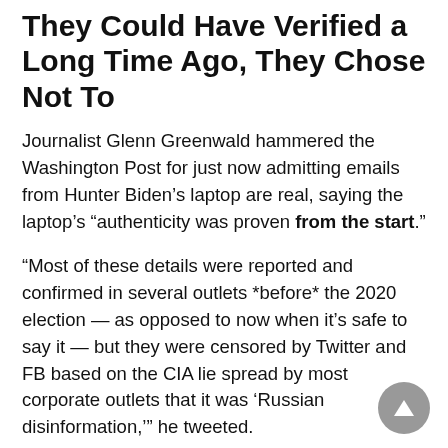They Could Have Verified a Long Time Ago, They Chose Not To
Journalist Glenn Greenwald hammered the Washington Post for just now admitting emails from Hunter Biden’s laptop are real, saying the laptop’s “authenticity was proven from the start.”
“Most of these details were reported and confirmed in several outlets *before* the 2020 election — as opposed to now when it’s safe to say it — but they were censored by Twitter and FB based on the CIA lie spread by most corporate outlets that it was ‘Russian disinformation,’” he tweeted.
Greenwald goes on to note that despite slow-